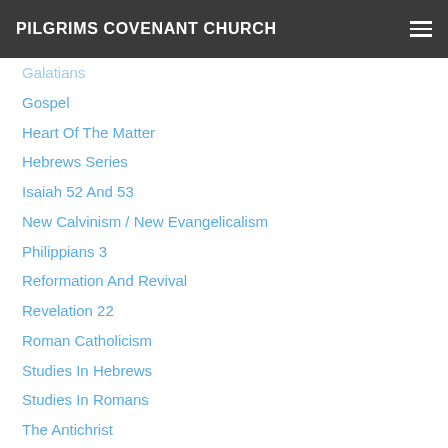PILGRIMS COVENANT CHURCH
Galatians
Gospel
Heart Of The Matter
Hebrews Series
Isaiah 52 And 53
New Calvinism / New Evangelicalism
Philippians 3
Reformation And Revival
Revelation 22
Roman Catholicism
Studies In Hebrews
Studies In Romans
The Antichrist
The Church
The Doctrine Of Justification
The Gospel According To Matthew
The Lord's Day